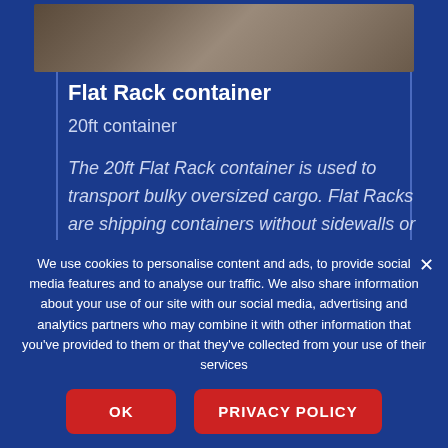[Figure (photo): Partial view of a flat rack shipping container from above, showing wooden deck surface and reddish-brown metal structure on a grey background.]
Flat Rack container
20ft container
The 20ft Flat Rack container is used to transport bulky oversized cargo. Flat Racks are shipping containers without sidewalls or
We use cookies to personalise content and ads, to provide social media features and to analyse our traffic. We also share information about your use of our site with our social media, advertising and analytics partners who may combine it with other information that you've provided to them or that they've collected from your use of their services